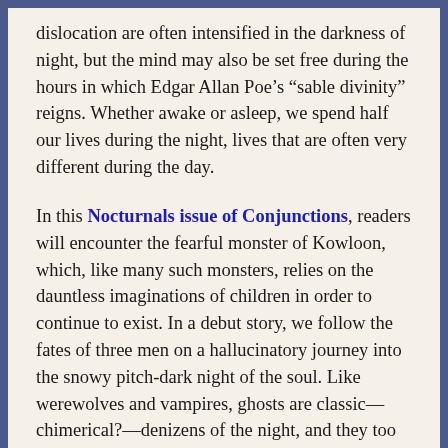dislocation are often intensified in the darkness of night, but the mind may also be set free during the hours in which Edgar Allan Poe's “sable divinity” reigns. Whether awake or asleep, we spend half our lives during the night, lives that are often very different during the day.
In this Nocturnals issue of Conjunctions, readers will encounter the fearful monster of Kowloon, which, like many such monsters, relies on the dauntless imaginations of children in order to continue to exist. In a debut story, we follow the fates of three men on a hallucinatory journey into the snowy pitch-dark night of the soul. Like werewolves and vampires, ghosts are classic—chimerical?—denizens of the night, and they too haunt these pages. Purgatory can be found here, along with alternative universes, an East Village bar that doubles as a portal to another life, and a